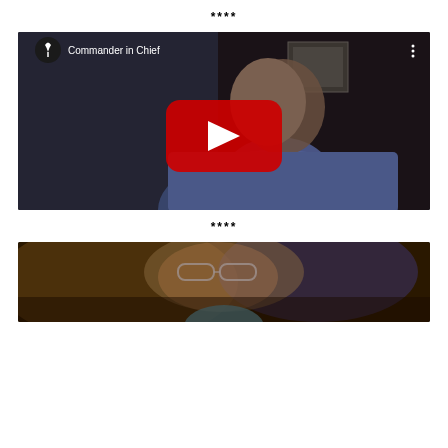****
[Figure (screenshot): YouTube video embed titled 'Commander in Chief' showing a man in a blue shirt against a dark background, with red YouTube play button in center]
****
[Figure (photo): Close-up photo of a person wearing glasses, partially visible, with blurred background]